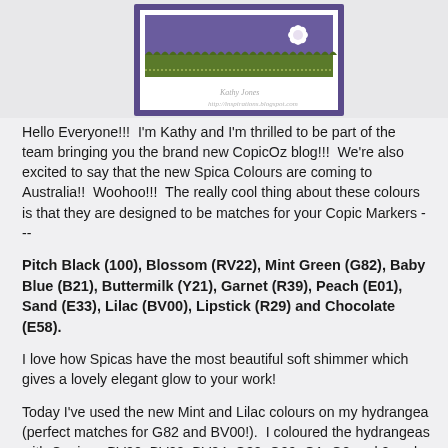[Figure (photo): Partial view of a handmade greeting card with purple and green layered design, scalloped border, and a white flower embellishment. Watermark text visible: 'Kathy Jones http://inspirations.blogspot.com']
Hello Everyone!!!  I'm Kathy and I'm thrilled to be part of the team bringing you the brand new CopicOz blog!!!  We're also excited to say that the new Spica Colours are coming to Australia!!  Woohoo!!!  The really cool thing about these colours is that they are designed to be matches for your Copic Markers ---
Pitch Black (100), Blossom (RV22), Mint Green (G82), Baby Blue (B21), Buttermilk (Y21), Garnet (R39), Peach (E01), Sand (E33), Lilac (BV00), Lipstick (R29) and Chocolate (E58).
I love how Spicas have the most beautiful soft shimmer which gives a lovely elegant glow to your work!
Today I've used the new Mint and Lilac colours on my hydrangea (perfect matches for G82 and BV00!).  I coloured the hydrangeas with Copics - BV00, BV02, BV04, G82, G99, G1, G2 and 0 and I've also coloured the border surrounding